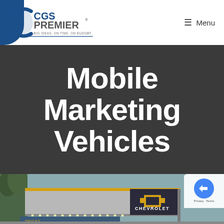[Figure (logo): CGS Premier logo with blue arc on left, text 'CGS PREMIER' and tagline 'BIG IDEAS. ON TIME. ON BUDGET.']
≡ Menu
Mobile Marketing Vehicles
[Figure (photo): Chevrolet mobile marketing vehicle canopy structure with gold/yellow trim, LED lights underneath, and large Chevrolet bowtie logo and CHEVROLET text on dark signage. Trees visible in background.]